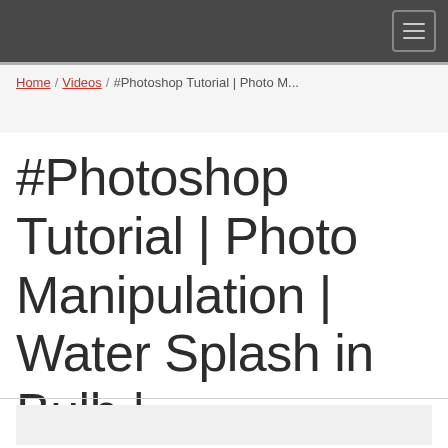Home / Videos / #Photoshop Tutorial | Photo M...
#Photoshop Tutorial | Photo Manipulation | Water Splash in Bulb |